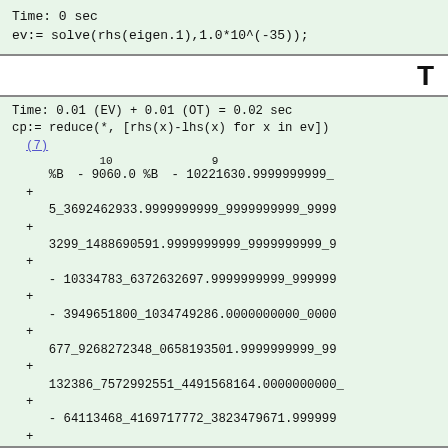Time: 0 sec
ev:= solve(rhs(eigen.1),1.0*10^(-35));
T
Time: 0.01 (EV) + 0.01 (OT) = 0.02 sec
cp:= reduce(*, [rhs(x)-lhs(x) for x in ev])
(7)
   %B^10 - 9060.0 %B^9 - 10221630.9999999999...
+
   5_3692462933.9999999999_9999999999_9999...
+
   3299_1488690591.9999999999_9999999999_9...
+
   - 10334783_6372632697.9999999999_999999...
+
   - 3949651800_1034749286.0000000000_0000...
+
   677_9268272348_0658193501.9999999999_99...
+
   132386_7572992551_4491568164.0000000000...
+
   - 64113468_4169717772_3823479671.999999...
+
   - 7775505879_0881663539_7837762624.0000...